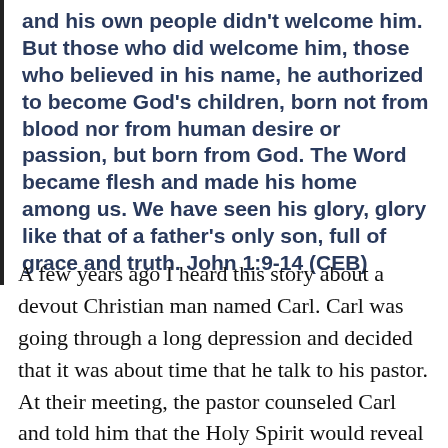and his own people didn't welcome him. But those who did welcome him, those who believed in his name, he authorized to become God's children, born not from blood nor from human desire or passion, but born from God. The Word became flesh and made his home among us. We have seen his glory, glory like that of a father's only son, full of grace and truth. John 1:9-14 (CEB)
A few years ago I heard this story about a devout Christian man named Carl. Carl was going through a long depression and decided that it was about time that he talk to his pastor. At their meeting, the pastor counseled Carl and told him that the Holy Spirit would reveal all the answers Carl needed through scripture. Hopeful, Carl went home, got in a quiet place, pulled